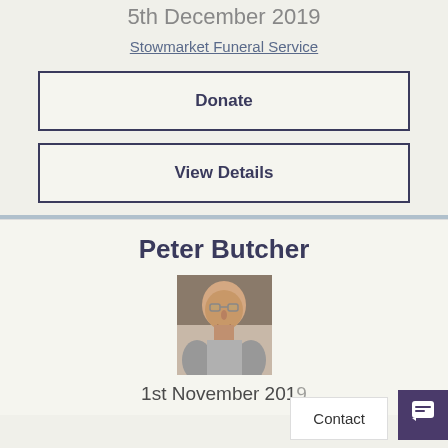5th December 2019
Stowmarket Funeral Service
Donate
View Details
Peter Butcher
[Figure (photo): Portrait photo of an elderly bald man wearing a grey shirt, outdoors]
1st November 201...